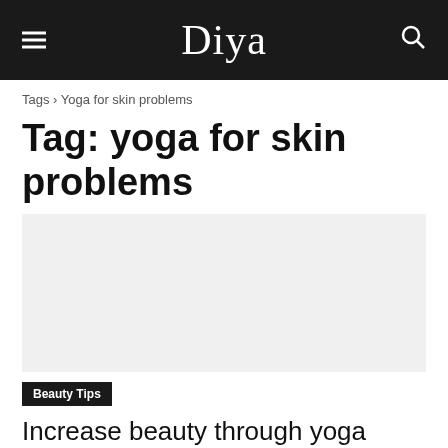Diya
Tags › Yoga for skin problems
Tag: yoga for skin problems
[Figure (photo): Article image placeholder for yoga beauty article]
Beauty Tips
Increase beauty through yoga
Aiman – April 15, 2020